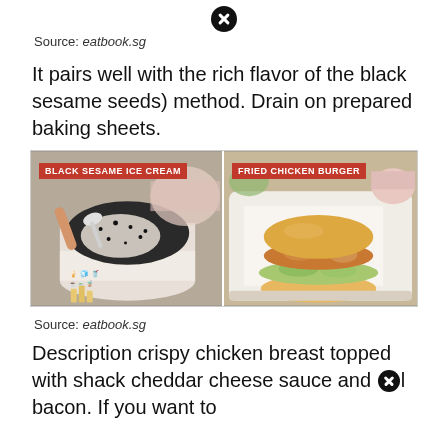[Figure (other): Close/X button icon at top center]
Source: eatbook.sg
It pairs well with the rich flavor of the black sesame seeds) method. Drain on prepared baking sheets.
[Figure (photo): Side-by-side food photo: left half shows Black Sesame Ice Cream in a branded cup with a spoon; right half shows a Fried Chicken Burger on a tray with shredded lettuce.]
Source: eatbook.sg
Description crispy chicken breast topped with shack cheddar cheese sauce and [X icon] bacon. If you want to